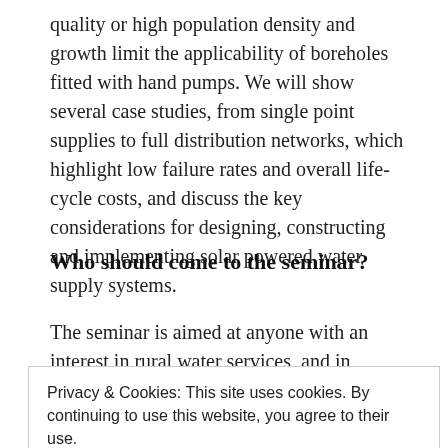quality or high population density and growth limit the applicability of boreholes fitted with hand pumps. We will show several case studies, from single point supplies to full distribution networks, which highlight low failure rates and overall life-cycle costs, and discuss the key considerations for designing, constructing and implementing solar powered water supply systems.
Who should come to the seminar?
The seminar is aimed at anyone with an interest in rural water services, and in particular groundwater
Privacy & Cookies: This site uses cookies. By continuing to use this website, you agree to their use.
To find out more, including how to control cookies, see here: Cookie Policy
Who is running the seminar?